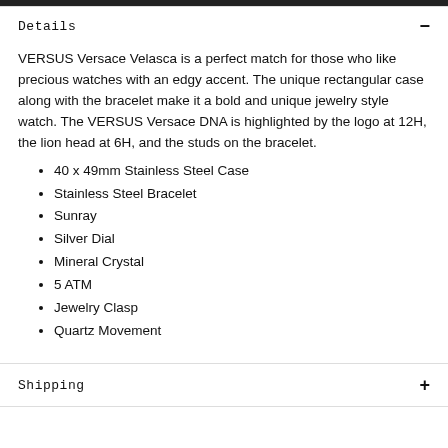Details
VERSUS Versace Velasca is a perfect match for those who like precious watches with an edgy accent. The unique rectangular case along with the bracelet make it a bold and unique jewelry style watch. The VERSUS Versace DNA is highlighted by the logo at 12H, the lion head at 6H, and the studs on the bracelet.
40 x 49mm Stainless Steel Case
Stainless Steel Bracelet
Sunray
Silver Dial
Mineral Crystal
5 ATM
Jewelry Clasp
Quartz Movement
Shipping